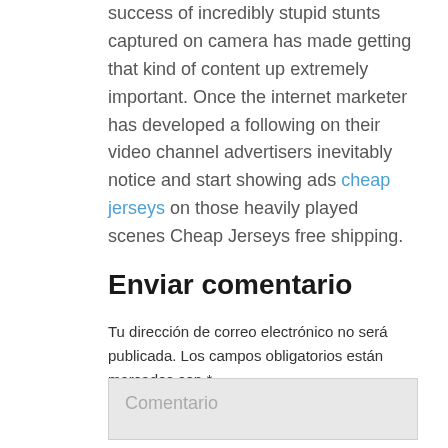success of incredibly stupid stunts captured on camera has made getting that kind of content up extremely important. Once the internet marketer has developed a following on their video channel advertisers inevitably notice and start showing ads cheap jerseys on those heavily played scenes Cheap Jerseys free shipping.
Enviar comentario
Tu dirección de correo electrónico no será publicada. Los campos obligatorios están marcados con *